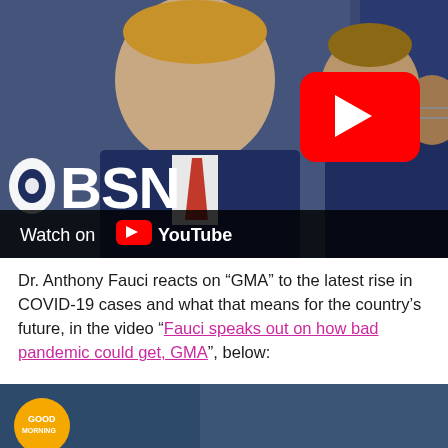[Figure (screenshot): CBSN news video thumbnail showing politicians at a White House briefing with CBSN logo overlay and YouTube 'Watch on YouTube' bar at the bottom. A large red YouTube play button is visible in the upper right of the thumbnail.]
Dr. Anthony Fauci reacts on “GMA” to the latest rise in COVID-19 cases and what that means for the country’s future, in the video “Fauci speaks out on how bad pandemic could get, GMA”, below:
[Figure (screenshot): Partial thumbnail of a second video showing a GMA (Good Morning America) badge with dark blue background, partially visible at bottom of page.]